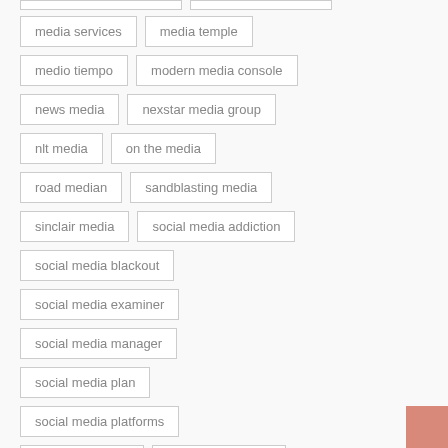media services
media temple
medio tiempo
modern media console
news media
nexstar media group
nlt media
on the media
road median
sandblasting media
sinclair media
social media addiction
social media blackout
social media examiner
social media manager
social media plan
social media platforms
usps media mail
what's the median
white media console